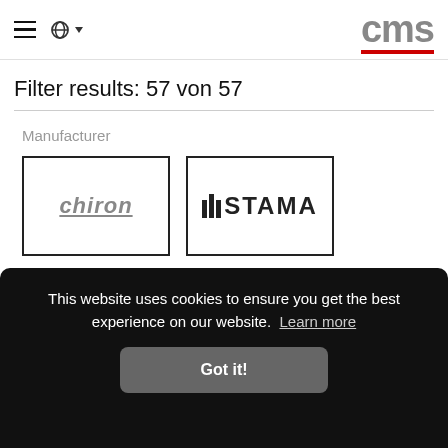CMS
Filter results: 57 von 57
Manufacturer
[Figure (logo): Chiron manufacturer logo in a bordered box]
[Figure (logo): STAMA manufacturer logo in a bordered box]
Control
This website uses cookies to ensure you get the best experience on our website. Learn more
Got it!